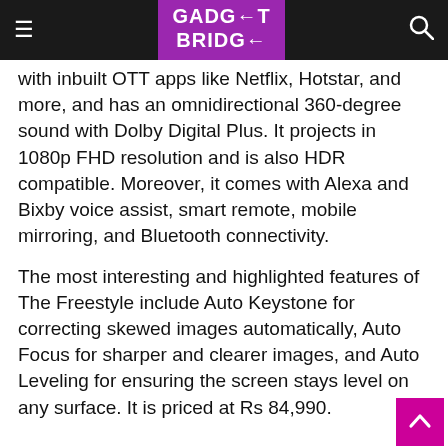GADGET BRIDGE
with inbuilt OTT apps like Netflix, Hotstar, and more, and has an omnidirectional 360-degree sound with Dolby Digital Plus. It projects in 1080p FHD resolution and is also HDR compatible. Moreover, it comes with Alexa and Bixby voice assist, smart remote, mobile mirroring, and Bluetooth connectivity.
The most interesting and highlighted features of The Freestyle include Auto Keystone for correcting skewed images automatically, Auto Focus for sharper and clearer images, and Auto Leveling for ensuring the screen stays level on any surface. It is priced at Rs 84,990.